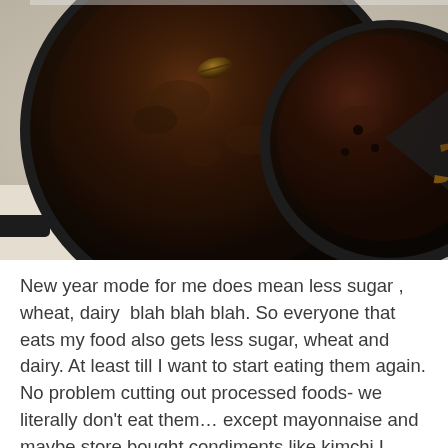[Figure (photo): Overhead view of two dark cast iron skillets on a light wooden countertop, each containing a baked dark chocolate cake. The left skillet shows a whole round chocolate cake with a single pecan on top. The right skillet (partially visible) shows a cake with a slice removed, revealing pecan pieces inside.]
New year mode for me does mean less sugar , wheat, dairy  blah blah blah. So everyone that eats my food also gets less sugar, wheat and dairy. At least till I want to start eating them again. No problem cutting out processed foods- we literally don't eat them… except mayonnaise and maybe store bought condiments like kimchi I want to test out.  I don't see wheat and sugar as villains per se- I